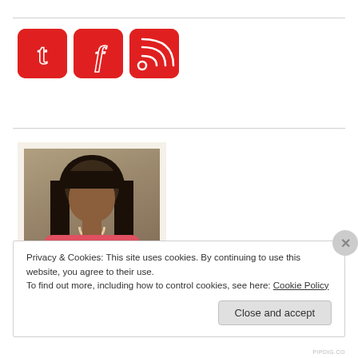[Figure (logo): Three red rounded-square social media icons: Tumblr (t), Facebook (f), and RSS feed symbol]
Follow my blog with Bloglovin
[Figure (photo): Profile photo of a smiling woman with dark hair and bangs, wearing a red floral top, framed with a light border]
Privacy & Cookies: This site uses cookies. By continuing to use this website, you agree to their use.
To find out more, including how to control cookies, see here: Cookie Policy
Close and accept